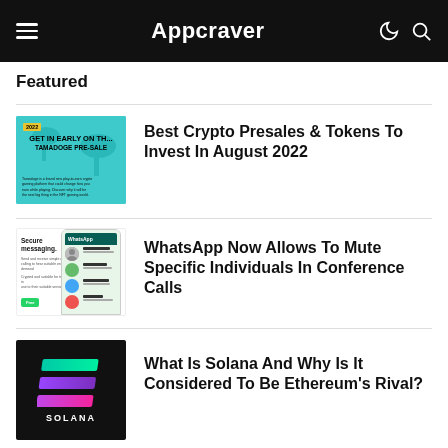Appcraver
Featured
Best Crypto Presales & Tokens To Invest In August 2022
[Figure (illustration): Teal/cyan promotional banner with text GET IN EARLY ON THE TAMADOGE PRE-SALE]
WhatsApp Now Allows To Mute Specific Individuals In Conference Calls
[Figure (screenshot): WhatsApp app screenshot showing secure messaging interface with phone mockup]
What Is Solana And Why Is It Considered To Be Ethereum's Rival?
[Figure (logo): Solana logo on black background with gradient bars in teal, purple, and pink, with SOLANA text below]